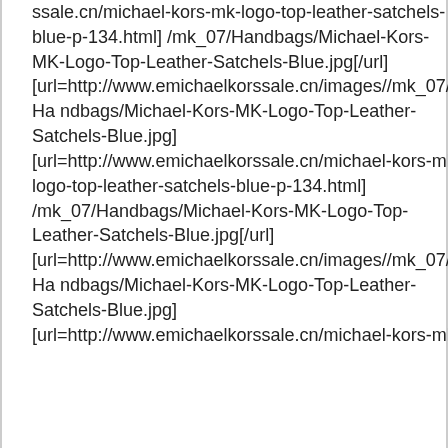ssale.cn/michael-kors-mk-logo-top-leather-satchels-blue-p-134.html] /mk_07/Handbags/Michael-Kors-MK-Logo-Top-Leather-Satchels-Blue.jpg[/url] [url=http://www.emichaelkorssale.cn/images//mk_07/Handbags/Michael-Kors-MK-Logo-Top-Leather-Satchels-Blue.jpg] [url=http://www.emichaelkorssale.cn/michael-kors-mk-logo-top-leather-satchels-blue-p-134.html] /mk_07/Handbags/Michael-Kors-MK-Logo-Top-Leather-Satchels-Blue.jpg[/url] [url=http://www.emichaelkorssale.cn/images//mk_07/Handbags/Michael-Kors-MK-Logo-Top-Leather-Satchels-Blue.jpg] [url=http://www.emichaelkorssale.cn/michael-kors-mk-